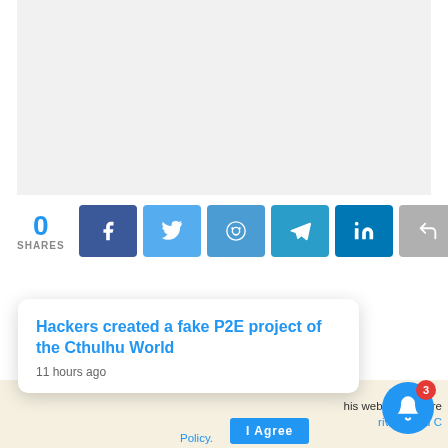[Figure (other): Advertisement placeholder area with light gray background]
0 SHARES — Social share buttons: Facebook, Twitter, Reddit, Telegram, LinkedIn, Share
[Figure (screenshot): Notification popup: 'Hackers created a fake P2E project of the Cthulhu World — 11 hours ago']
his website you are ... Privacy and C... Policy. I Agree